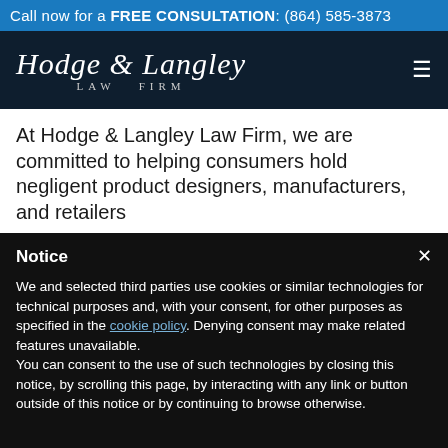Call now for a FREE CONSULTATION: (864) 585-3873
[Figure (logo): Hodge & Langley Law Firm logo in script font with LAW FIRM subtitle, white text on dark navy background, with hamburger menu icon]
At Hodge & Langley Law Firm, we are committed to helping consumers hold negligent product designers, manufacturers, and retailers
Notice
We and selected third parties use cookies or similar technologies for technical purposes and, with your consent, for other purposes as specified in the cookie policy. Denying consent may make related features unavailable.
You can consent to the use of such technologies by closing this notice, by scrolling this page, by interacting with any link or button outside of this notice or by continuing to browse otherwise.